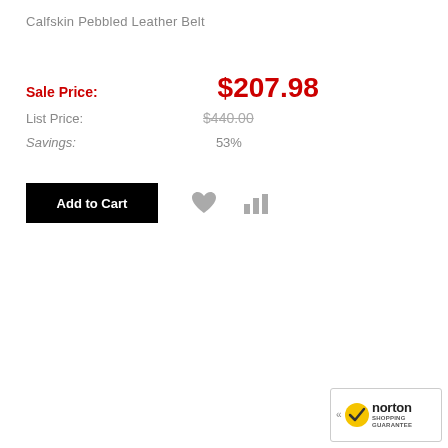Calfskin Pebbled Leather Belt
Sale Price: $207.98
List Price: $440.00
Savings: 53%
[Figure (other): Add to Cart button (black rectangle with white bold text) and wishlist/compare icons (gray heart and bar chart icons)]
[Figure (logo): Norton Shopping Guarantee badge - yellow and black logo with checkmark]